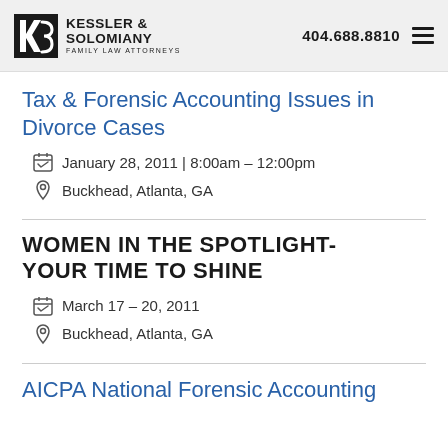Kessler & Solomiany Family Law Attorneys | 404.688.8810
Tax & Forensic Accounting Issues in Divorce Cases
January 28, 2011 | 8:00am – 12:00pm
Buckhead, Atlanta, GA
WOMEN IN THE SPOTLIGHT- YOUR TIME TO SHINE
March 17 – 20, 2011
Buckhead, Atlanta, GA
AICPA National Forensic Accounting